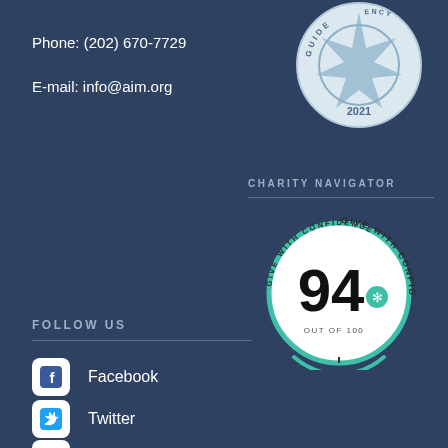Phone: (202) 670-7729
E-mail: info@aim.org
[Figure (logo): GuideStar Transparency 2021 badge - circular badge with star in center]
CHARITY NAVIGATOR
[Figure (infographic): Charity Navigator Give With Confidence badge showing score 94 out of 100]
FOLLOW US
Facebook
Twitter
Youtube